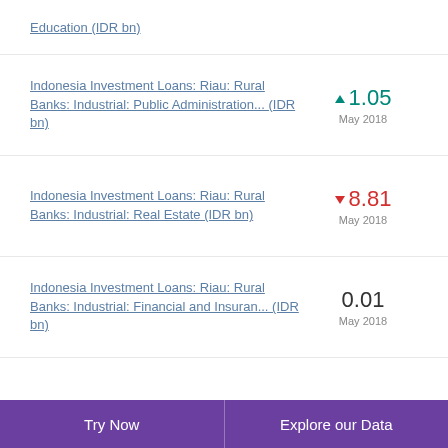Education (IDR bn)
Indonesia Investment Loans: Riau: Rural Banks: Industrial: Public Administration... (IDR bn) ▲ 1.05 May 2018
Indonesia Investment Loans: Riau: Rural Banks: Industrial: Real Estate (IDR bn) ▼ 8.81 May 2018
Indonesia Investment Loans: Riau: Rural Banks: Industrial: Financial and Insuran... (IDR bn) 0.01 May 2018
Try Now    Explore our Data